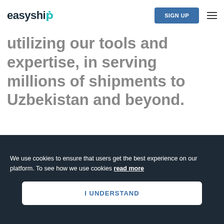easyship — SIGN UP [nav bar with hamburger menu]
utilizing our tools and expertise, in serving millions of shipments to Uzbekistan and beyond.
SIGNUP FOR FREE
We use cookies to ensure that users get the best experience on our platform. To see how we use cookies read more
I UNDERSTAND